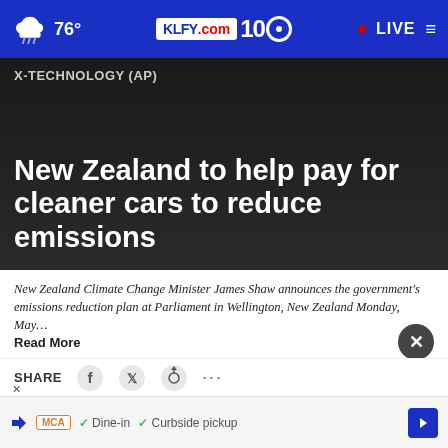76° KLFY.com 10 LIVE
X-TECHNOLOGY (AP)
New Zealand to help pay for cleaner cars to reduce emissions
New Zealand Climate Change Minister James Shaw announces the government's emissions reduction plan at Parliament in Wellington, New Zealand Monday, May… Read More
by: NICK PERRY, Associated Press
Posted: May 15, 2022 / 09:20 PM CDT
Updated: May 15, 2022 / 10:32 PM CDT
SHARE
Dine-in  Curbside pickup